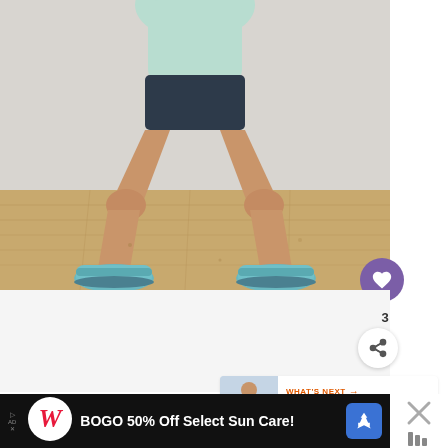[Figure (photo): A person standing in a wide squat stance wearing dark shorts, a light blue tank top, and teal/blue athletic shoes, on a wooden floor with a white/gray background. Only the lower body and waist are visible. A purple heart/like button is visible in the bottom right of the image.]
3
[Figure (infographic): What's Next panel with thumbnail of person doing lower body exercise, label 'WHAT'S NEXT' with arrow, and text '30-Minute Lower Body...']
BOGO 50% Off Select Sun Care!